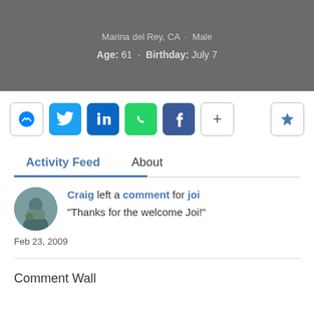Marina del Rey, CA · Male
Age: 61 · Birthday: July 7
[Figure (infographic): Social sharing buttons: Messenger, Twitter, LinkedIn, WhatsApp, Facebook, More (+), and a star/bookmark button]
Activity Feed	About
Craig left a comment for joi
"Thanks for the welcome Joi!"
Feb 23, 2009
Comment Wall